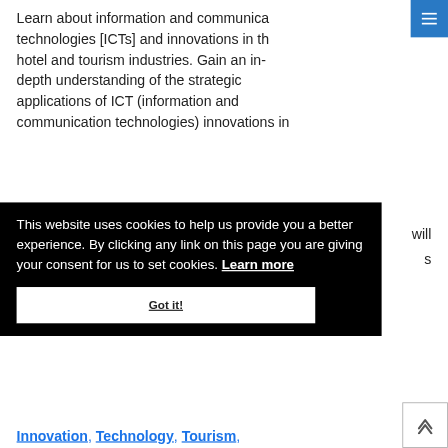Learn about information and communication technologies [ICTs] and innovations in the hotel and tourism industries. Gain an in-depth understanding of the strategic applications of ICT (information and communication technologies) innovations in
will
s
This website uses cookies to help us provide you a better experience. By clicking any link on this page you are giving your consent for us to set cookies. Learn more
Got it!
Innovation, Technology, Tourism,